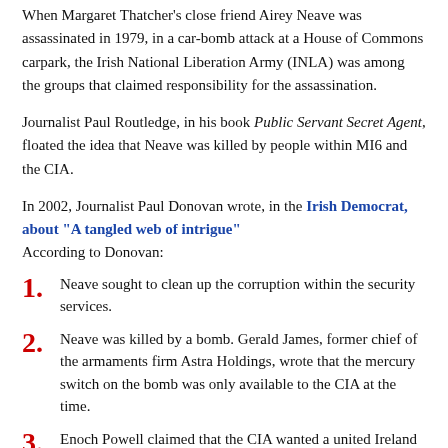When Margaret Thatcher's close friend Airey Neave was assassinated in 1979, in a car-bomb attack at a House of Commons carpark, the Irish National Liberation Army (INLA) was among the groups that claimed responsibility for the assassination.
Journalist Paul Routledge, in his book Public Servant Secret Agent, floated the idea that Neave was killed by people within MI6 and the CIA.
In 2002, Journalist Paul Donovan wrote, in the Irish Democrat, about "A tangled web of intrigue"
According to Donovan:
1. Neave sought to clean up the corruption within the security services.
2. Neave was killed by a bomb. Gerald James, former chief of the armaments firm Astra Holdings, wrote that the mercury switch on the bomb was only available to the CIA at the time.
3. Enoch Powell claimed that the CIA wanted a united Ireland within NATO.
[Figure (other): Empty outlined box at the bottom of the page]